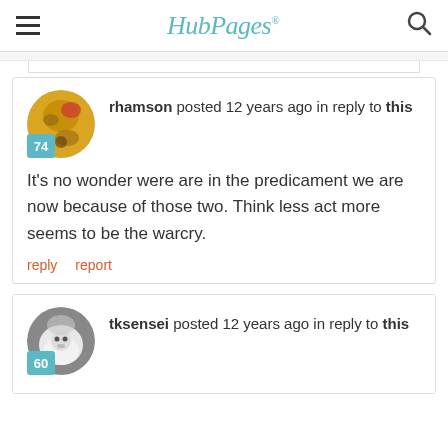HubPages
rhamson posted 12 years ago in reply to this
It's no wonder were are in the predicament we are now because of those two.  Think less act more seems to be the warcry.
tksensei posted 12 years ago in reply to this